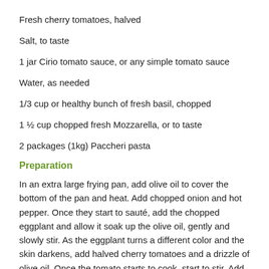Fresh cherry tomatoes, halved
Salt, to taste
1 jar Cirio tomato sauce, or any simple tomato sauce
Water, as needed
1/3 cup or healthy bunch of fresh basil, chopped
1 ½ cup chopped fresh Mozzarella, or to taste
2 packages (1kg) Paccheri pasta
Preparation
In an extra large frying pan, add olive oil to cover the bottom of the pan and heat. Add chopped onion and hot pepper. Once they start to sauté, add the chopped eggplant and allow it soak up the olive oil, gently and slowly stir. As the eggplant turns a different color and the skin darkens, add halved cherry tomatoes and a drizzle of olive oil. Once the tomato starts to cook, start to stir. Add salt to taste. Slowly start to squish cherry tomatoes & eggplant as they soften. Then add